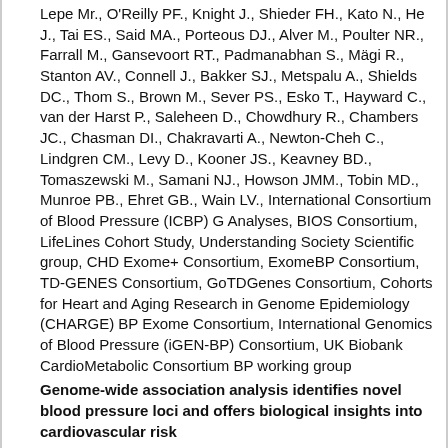Lepe Mr., O'Reilly PF., Knight J., Shieder FH., Kato N., He J., Tai ES., Said MA., Porteous DJ., Alver M., Poulter NR., Farrall M., Gansevoort RT., Padmanabhan S., Mägi R., Stanton AV., Connell J., Bakker SJ., Metspalu A., Shields DC., Thom S., Brown M., Sever PS., Esko T., Hayward C., van der Harst P., Saleheen D., Chowdhury R., Chambers JC., Chasman DI., Chakravarti A., Newton-Cheh C., Lindgren CM., Levy D., Kooner JS., Keavney BD., Tomaszewski M., Samani NJ., Howson JMM., Tobin MD., Munroe PB., Ehret GB., Wain LV., International Consortium of Blood Pressure (ICBP) G Analyses, BIOS Consortium, LifeLines Cohort Study, Understanding Society Scientific group, CHD Exome+ Consortium, ExomeBP Consortium, TD-GENES Consortium, GoTDGenes Consortium, Cohorts for Heart and Aging Research in Genome Epidemiology (CHARGE) BP Exome Consortium, International Genomics of Blood Pressure (iGEN-BP) Consortium, UK Biobank CardioMetabolic Consortium BP working group
Genome-wide association analysis identifies novel blood pressure loci and offers biological insights into cardiovascular risk
PUBMED